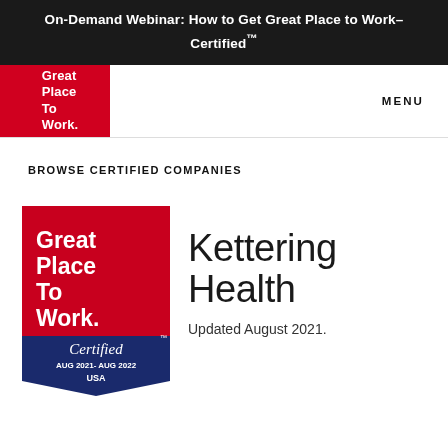On-Demand Webinar: How to Get Great Place to Work-Certified™
[Figure (logo): Great Place To Work logo - red background with white bold text]
MENU
BROWSE CERTIFIED COMPANIES
[Figure (logo): Great Place To Work Certified badge - AUG 2021 - AUG 2022 USA, red and navy blue shield/banner shape]
Kettering Health
Updated August 2021.